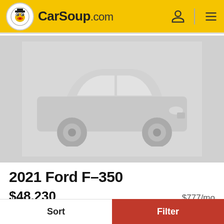CarSoup.com
[Figure (illustration): Car listing image showing a white/silver sedan on a gray background placeholder]
2021 Ford F-350
$48,230   $777/mo
Korf Continental Ford
4.2 (52 reviews)
New   0 Mi.
Sort   Filter